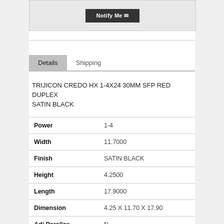[Figure (screenshot): Notify Me button with dark background and envelope icon]
TRIJICON CREDO HX 1-4X24 30MM SFP RED DUPLEX SATIN BLACK
| Power | 1-4 |
| Width | 11.7000 |
| Finish | SATIN BLACK |
| Height | 4.2500 |
| Length | 17.9000 |
| Dimension | 4.25 X 11.70 X 17.90 |
| Adj Parallax | N |